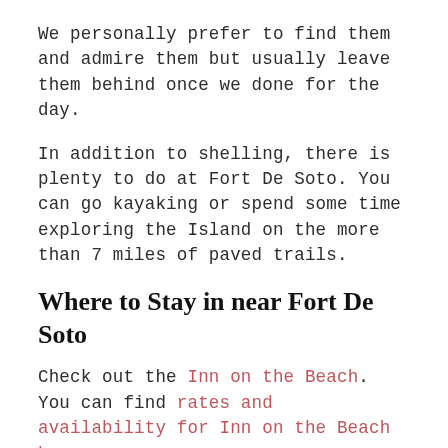We personally prefer to find them and admire them but usually leave them behind once we done for the day.
In addition to shelling, there is plenty to do at Fort De Soto. You can go kayaking or spend some time exploring the Island on the more than 7 miles of paved trails.
Where to Stay in near Fort De Soto
Check out the Inn on the Beach. You can find rates and availability for Inn on the Beach here.